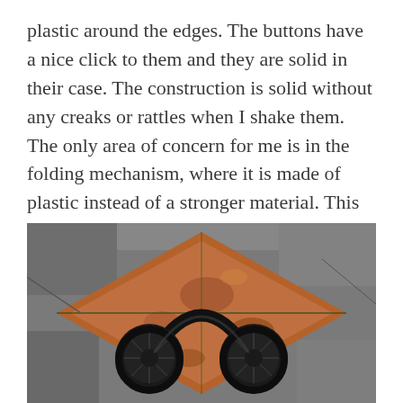plastic around the edges. The buttons have a nice click to them and they are solid in their case. The construction is solid without any creaks or rattles when I shake them. The only area of concern for me is in the folding mechanism, where it is made of plastic instead of a stronger material. This is a common point of failure on many budget headphones.
[Figure (photo): Black over-ear headphones resting on a weathered, rusty metal surface with diamond/rhombus shape pattern and grey concrete surroundings with moss in cracks.]